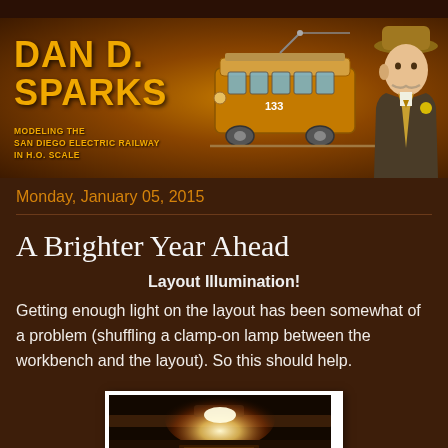[Figure (illustration): Banner header for Dan D. Sparks blog. Shows yellow vintage trolley car in center, illustrated man in hat and suit on right, title text on left reading DAN D. SPARKS with subtitle MODELING THE SAN DIEGO ELECTRIC RAILWAY IN H.O. SCALE. Orange/brown gradient background.]
Monday, January 05, 2015
A Brighter Year Ahead
Layout Illumination!
Getting enough light on the layout has been somewhat of a problem (shuffling a clamp-on lamp between the workbench and the layout). So this should help.
[Figure (photo): Photo of a lamp or light fixture mounted under a shelf or workbench, showing a bright warm light illuminating what appears to be a model railroad layout below. Dark background with warm glowing light visible.]